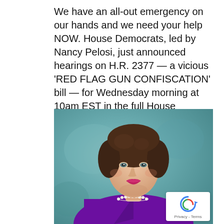We have an all-out emergency on our hands and we need your help NOW. House Democrats, led by Nancy Pelosi, just announced hearings on H.R. 2377 — a vicious 'RED FLAG GUN CONFISCATION' bill — for Wednesday morning at 10am EST in the full House Judiciary...
[Figure (photo): Portrait photo of an elderly woman with short brown hair, wearing a purple blazer and pearl necklace, against a teal/blue background. A reCAPTCHA Privacy - Terms badge appears in the bottom right corner.]